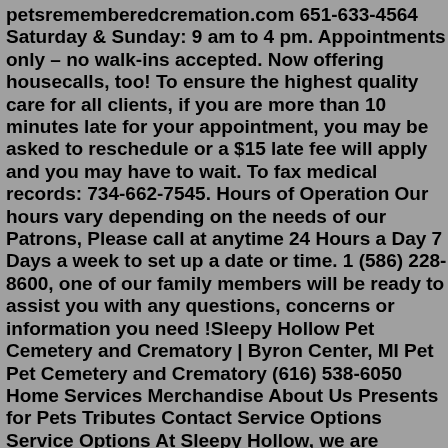petsrememberedcremation.com 651-633-4564 Saturday & Sunday: 9 am to 4 pm. Appointments only – no walk-ins accepted. Now offering housecalls, too! To ensure the highest quality care for all clients, if you are more than 10 minutes late for your appointment, you may be asked to reschedule or a $15 late fee will apply and you may have to wait. To fax medical records: 734-662-7545. Hours of Operation Our hours vary depending on the needs of our Patrons, Please call at anytime 24 Hours a Day 7 Days a week to set up a date or time. 1 (586) 228-8600, one of our family members will be ready to assist you with any questions, concerns or information you need !Sleepy Hollow Pet Cemetery and Crematory | Byron Center, MI Pet Pet Cemetery and Crematory (616) 538-6050 Home Services Merchandise About Us Presents for Pets Tributes Contact Service Options Service Options At Sleepy Hollow, we are dedicated to providing the service to our families that is second to none.At the Hancock Pet Emergency Clinic, the base fee is $79, but $110 is not uncommon in Michigan.